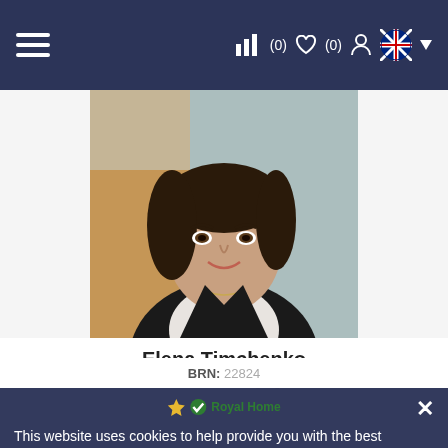≡  ▐▐▐(0)  ♡(0)  👤  🇬🇧  ▼
[Figure (photo): Professional headshot of Elena Timchenko, a woman with dark hair wearing a black jacket and white blouse, in an office setting.]
Elena Timchenko
Sales Director / Managing Partner
BRN: 22824
[Figure (logo): Royal Home logo with gold star and green checkmark, text reads Royal Home ORM]
This website uses cookies to help provide you with the best experience we can. These cookies are used to collect information about how you interact with our website and allow us to remember you. By using this website you agree to the use of cookies for analytics and personalized uses.
Accept